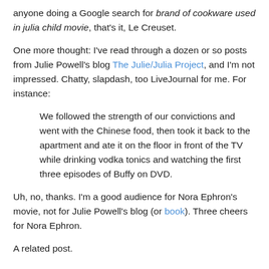anyone doing a Google search for brand of cookware used in julia child movie, that's it, Le Creuset.
One more thought: I've read through a dozen or so posts from Julie Powell's blog The Julie/Julia Project, and I'm not impressed. Chatty, slapdash, too LiveJournal for me. For instance:
We followed the strength of our convictions and went with the Chinese food, then took it back to the apartment and ate it on the floor in front of the TV while drinking vodka tonics and watching the first three episodes of Buffy on DVD.
Uh, no, thanks. I'm a good audience for Nora Ephron's movie, not for Julie Powell's blog (or book). Three cheers for Nora Ephron.
A related post.